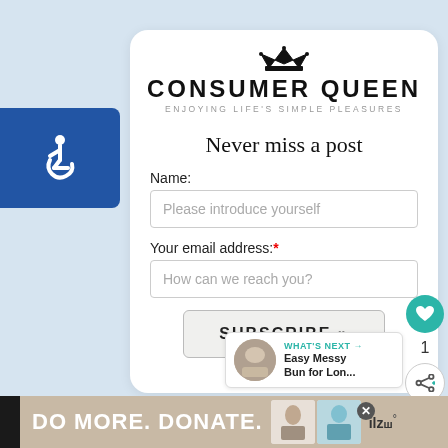[Figure (logo): Consumer Queen logo with crown icon and tagline 'ENJOYING LIFE'S SIMPLE PLEASURES']
Never miss a post
Name:
Please introduce yourself
Your email address:*
How can we reach you?
SUBSCRIBE »
[Figure (infographic): Accessibility icon (wheelchair symbol) in blue box on left side]
[Figure (infographic): What's Next panel with image thumbnail and text 'Easy Messy Bun for Lon...']
WHAT'S NEXT → Easy Messy Bun for Lon...
[Figure (infographic): Advertisement banner: DO MORE. DONATE. with images and brand logo]